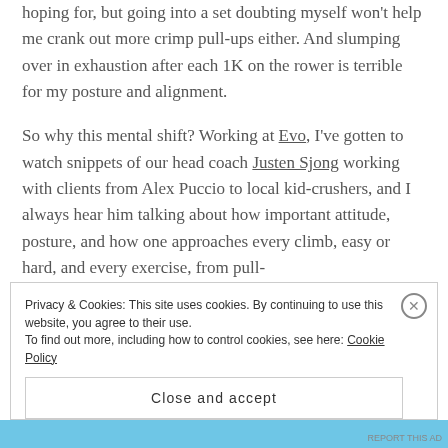hoping for, but going into a set doubting myself won't help me crank out more crimp pull-ups either. And slumping over in exhaustion after each 1K on the rower is terrible for my posture and alignment.
So why this mental shift? Working at Evo, I've gotten to watch snippets of our head coach Justen Sjong working with clients from Alex Puccio to local kid-crushers, and I always hear him talking about how important attitude, posture, and how one approaches every climb, easy or hard, and every exercise, from pull-
Privacy & Cookies: This site uses cookies. By continuing to use this website, you agree to their use.
To find out more, including how to control cookies, see here: Cookie Policy
Close and accept